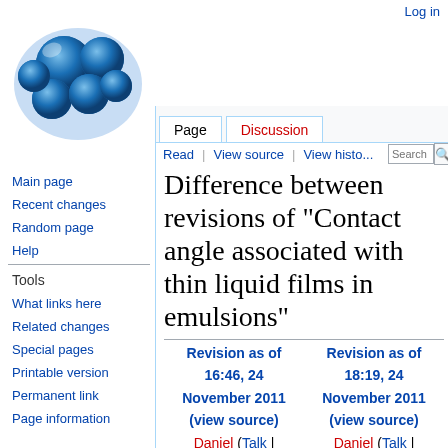Log in
[Figure (illustration): Blue spheres in a bowl/circular arrangement, Wikipedia-style logo for chemistry/science topic]
Page | Discussion
Read | View source | View history | Search
Difference between revisions of "Contact angle associated with thin liquid films in emulsions"
Main page
Recent changes
Random page
Help
Tools
What links here
Related changes
Special pages
Printable version
Permanent link
Page information
| Revision as of 16:46, 24 November 2011 (view source) | Revision as of 18:19, 24 November 2011 (view source) |
| --- | --- |
| Daniel (Talk | contribs) | Daniel (Talk | contribs) |